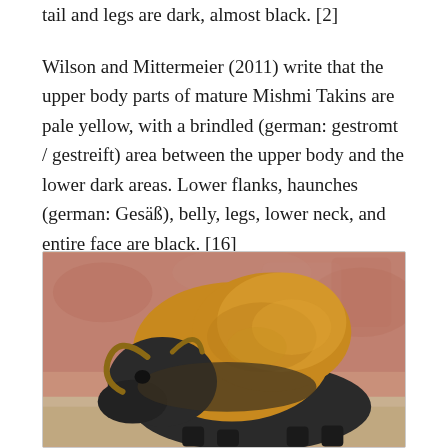tail and legs are dark, almost black. [2]
Wilson and Mittermeier (2011) write that the upper body parts of mature Mishmi Takins are pale yellow, with a brindled (german: gestromt / gestreift) area between the upper body and the lower dark areas. Lower flanks, haunches (german: Gesäß), belly, legs, lower neck, and entire face are black. [16]
[Figure (photo): Illustration or painting of a Mishmi Takin animal — a large bovine with golden-yellow upper body fur and dark/black lower body and legs, with curved horns, shown against a reddish-brown rocky background.]